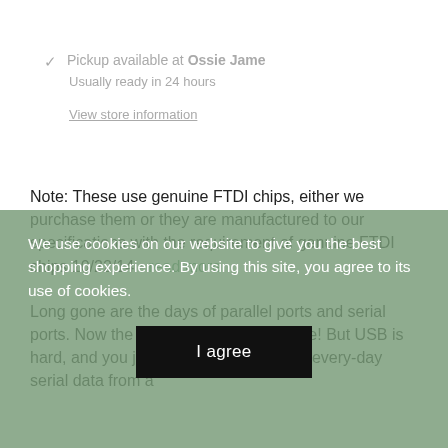Pickup available at Ossie Jame
Usually ready in 24 hours
View store information
Note: These use genuine FTDI chips, either we purchase them or they are manufactured to our specifications with the requirement of genuine FTDI chips 10/22/14 - read more.
Long gone are the days of parallel ports and serial ports. Now the USB port reigns supreme! But USB is hard, and you just want to transfer your every-day serial data from a
We use cookies on our website to give you the best shopping experience. By using this site, you agree to its use of cookies.
I agree